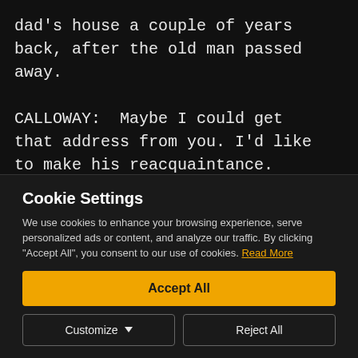dad's house a couple of years back, after the old man passed away.
CALLOWAY:  Maybe I could get that address from you. I'd like to make his reacquaintance.
Cookie Settings
We use cookies to enhance your browsing experience, serve personalized ads or content, and analyze our traffic. By clicking "Accept All", you consent to our use of cookies. Read More
Accept All
Customize
Reject All